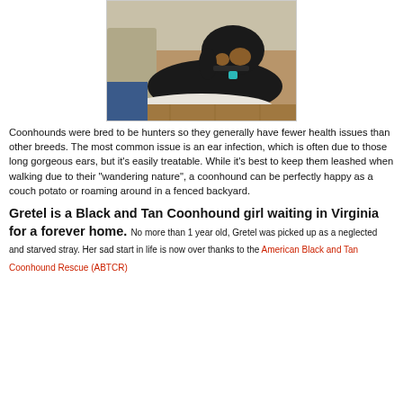[Figure (photo): A Black and Tan Coonhound dog lying on a white dog bed next to a couch, wearing a teal bone-shaped dog tag on a collar]
Coonhounds were bred to be hunters so they generally have fewer health issues than other breeds. The most common issue is an ear infection, which is often due to those long gorgeous ears, but it’s easily treatable. While it’s best to keep them leashed when walking due to their “wandering nature”, a coonhound can be perfectly happy as a couch potato or roaming around in a fenced backyard.
Gretel is a Black and Tan Coonhound girl waiting in Virginia for a forever home. No more than 1 year old, Gretel was picked up as a neglected and starved stray. Her sad start in life is now over thanks to the American Black and Tan Coonhound Rescue (ABTCR)